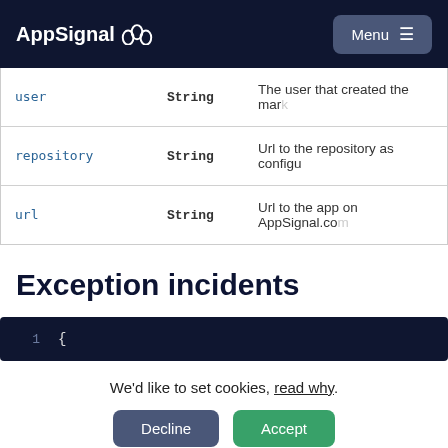AppSignal
| Field | Type | Description |
| --- | --- | --- |
| user | String | The user that created the mar… |
| repository | String | Url to the repository as confi… |
| url | String | Url to the app on AppSignal.co… |
Exception incidents
1   {
We'd like to set cookies, read why.
Decline  Accept